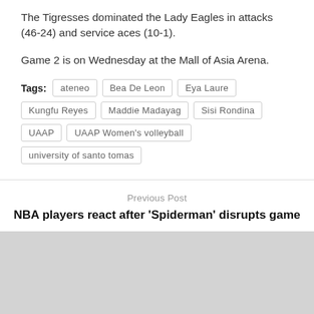The Tigresses dominated the Lady Eagles in attacks (46-24) and service aces (10-1).
Game 2 is on Wednesday at the Mall of Asia Arena.
Tags: ateneo  Bea De Leon  Eya Laure  Kungfu Reyes  Maddie Madayag  Sisi Rondina  UAAP  UAAP Women’s volleyball  university of santo tomas
Previous Post
NBA players react after ‘Spiderman’ disrupts game
Next Post